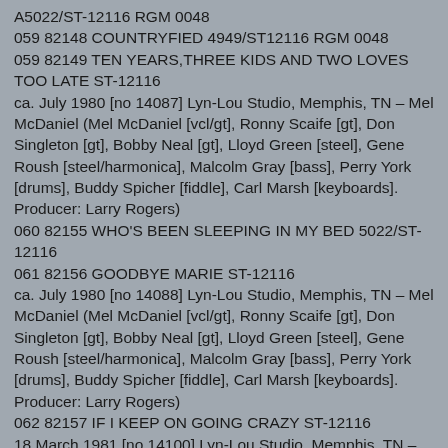A5022/ST-12116 RGM 0048
059 82148 COUNTRYFIED 4949/ST12116 RGM 0048
059 82149 TEN YEARS,THREE KIDS AND TWO LOVES TOO LATE ST-12116
ca. July 1980 [no 14087] Lyn-Lou Studio, Memphis, TN – Mel McDaniel (Mel McDaniel [vcl/gt], Ronny Scaife [gt], Don Singleton [gt], Bobby Neal [gt], Lloyd Green [steel], Gene Roush [steel/harmonica], Malcolm Gray [bass], Perry York [drums], Buddy Spicher [fiddle], Carl Marsh [keyboards]. Producer: Larry Rogers)
060 82155 WHO'S BEEN SLEEPING IN MY BED 5022/ST-12116
061 82156 GOODBYE MARIE ST-12116
ca. July 1980 [no 14088] Lyn-Lou Studio, Memphis, TN – Mel McDaniel (Mel McDaniel [vcl/gt], Ronny Scaife [gt], Don Singleton [gt], Bobby Neal [gt], Lloyd Green [steel], Gene Roush [steel/harmonica], Malcolm Gray [bass], Perry York [drums], Buddy Spicher [fiddle], Carl Marsh [keyboards]. Producer: Larry Rogers)
062 82157 IF I KEEP ON GOING CRAZY ST-12116
18 March 1981 [no 14100] Lyn-Lou Studio, Memphis, TN – Mel McDaniel (Producer: Larry Rogers)